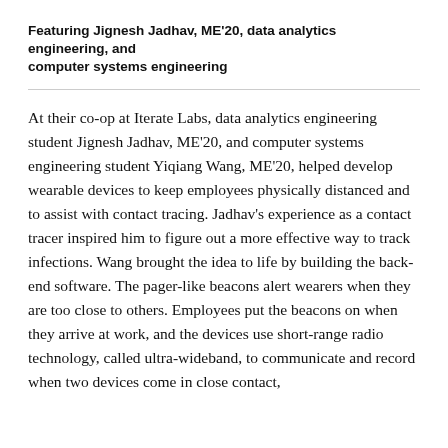Featuring Jignesh Jadhav, ME'20, data analytics engineering, and computer systems engineering
At their co-op at Iterate Labs, data analytics engineering student Jignesh Jadhav, ME'20, and computer systems engineering student Yiqiang Wang, ME'20, helped develop wearable devices to keep employees physically distanced and to assist with contact tracing. Jadhav's experience as a contact tracer inspired him to figure out a more effective way to track infections. Wang brought the idea to life by building the back-end software. The pager-like beacons alert wearers when they are too close to others. Employees put the beacons on when they arrive at work, and the devices use short-range radio technology, called ultra-wideband, to communicate and record when two devices come in close contact,